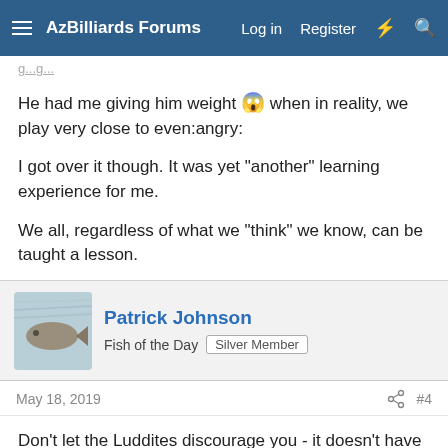AzBilliards Forums — Log in  Register
He had me giving him weight 😱 when in reality, we play very close to even:angry:
I got over it though. It was yet "another" learning experience for me.
We all, regardless of what we "think" we know, can be taught a lesson.
Patrick Johnson
Fish of the Day   Silver Member
May 18, 2019   #4
Don't let the Luddites discourage you - it doesn't have to hurt your feelings this much to learn something.